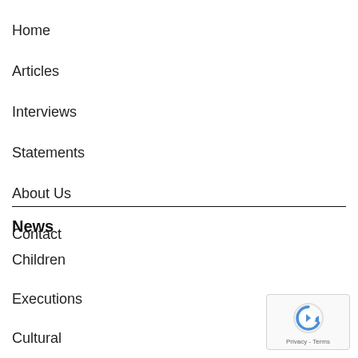Home
Articles
Interviews
Statements
About Us
Contact
News
Children
Executions
Cultural
Ethnic Minorities
[Figure (logo): Google reCAPTCHA badge with spinning arrow icon and Privacy - Terms text]